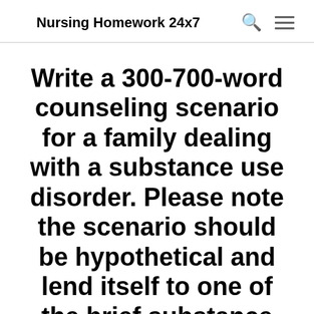Nursing Homework 24x7
Write a 300-700-word counseling scenario for a family dealing with a substance use disorder. Please note the scenario should be hypothetical and lend itself to one of the brief substance use